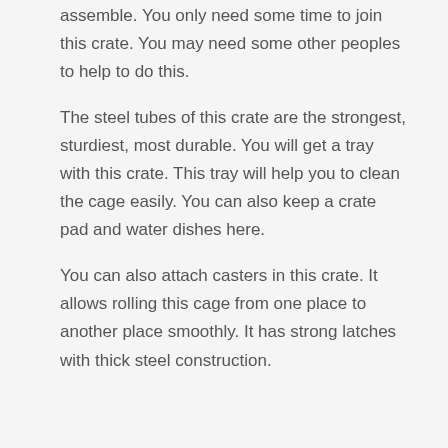assemble. You only need some time to join this crate. You may need some other peoples to help to do this.
The steel tubes of this crate are the strongest, sturdiest, most durable. You will get a tray with this crate. This tray will help you to clean the cage easily. You can also keep a crate pad and water dishes here.
You can also attach casters in this crate. It allows rolling this cage from one place to another place smoothly. It has strong latches with thick steel construction.